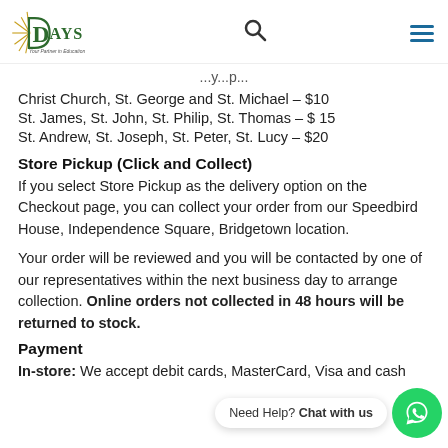Days — Your Partner in Education (logo, search, menu)
...y...p...
Christ Church, St. George and St. Michael – $10
St. James, St. John, St. Philip, St. Thomas – $ 15
St. Andrew, St. Joseph, St. Peter, St. Lucy – $20
Store Pickup (Click and Collect)
If you select Store Pickup as the delivery option on the Checkout page, you can collect your order from our Speedbird House, Independence Square, Bridgetown location.
Your order will be reviewed and you will be contacted by one of our representatives within the next business day to arrange collection. Online orders not collected in 48 hours will be returned to stock.
Payment
In-store: We accept debit cards, MasterCard, Visa and cash